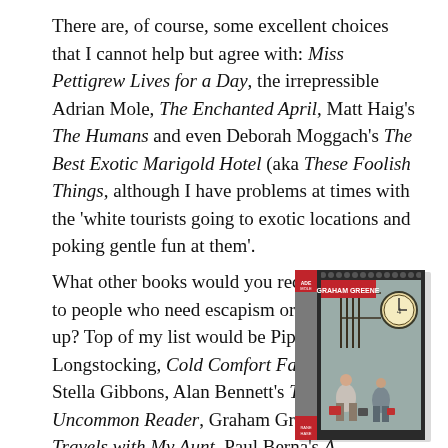There are, of course, some excellent choices that I cannot help but agree with: Miss Pettigrew Lives for a Day, the irrepressible Adrian Mole, The Enchanted April, Matt Haig's The Humans and even Deborah Moggach's The Best Exotic Marigold Hotel (aka These Foolish Things, although I have problems at times with the 'white tourists going to exotic locations and poking gentle fun at them'.
What other books would you recommend to people who need escapism or cheering up? Top of my list would be Pippi Longstocking, Cold Comfort Farm by Stella Gibbons, Alan Bennett's The Uncommon Reader, Graham Greene's Travels with My Aunt, Paul Berna's A Hundred Million
[Figure (photo): Book cover of 'Travels with My Aunt' shown as a physical hardback book in a decorative illustrated cover with grey background, clock, and the title on the spine in red and white.]